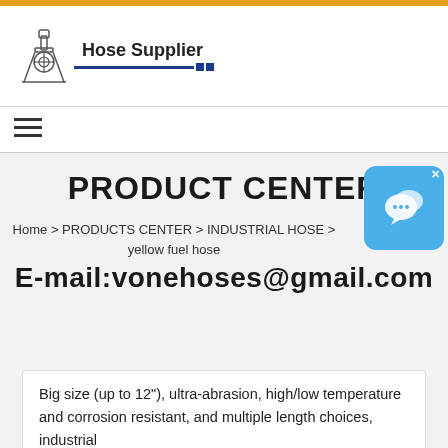Hose Supplier
PRODUCT CENTER
Home > PRODUCTS CENTER > INDUSTRIAL HOSE > yellow fuel hose
E-mail:vonehoses@gmail.com
Big size (up to 12"), ultra-abrasion, high/low temperature and corrosion resistant, and multiple length choices, industrial